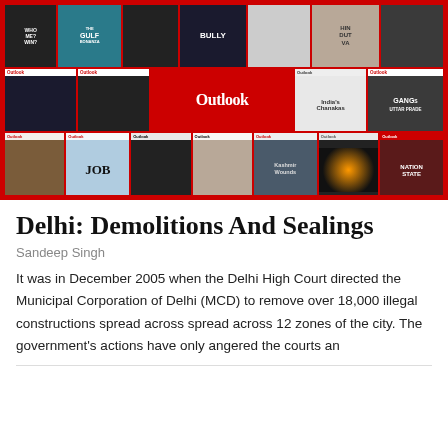[Figure (photo): Collage of Outlook magazine covers arranged in a grid with a red border, showing various issue covers including titles like 'The Gulf', 'Bully', 'JOB', 'Kashmir Wounds', 'Nation State', 'Gangs of Uttar Pradesh', and a large central Outlook logo on red background.]
Delhi: Demolitions And Sealings
Sandeep Singh
It was in December 2005 when the Delhi High Court directed the Municipal Corporation of Delhi (MCD) to remove over 18,000 illegal constructions spread across spread across 12 zones of the city. The government's actions have only angered the courts an